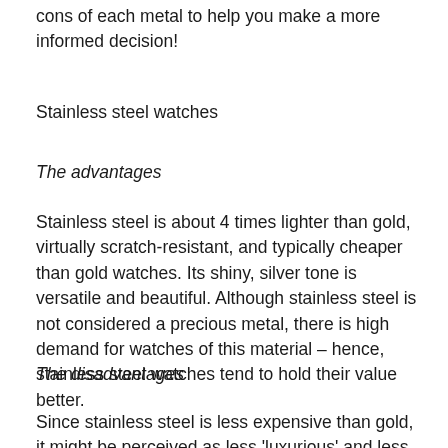cons of each metal to help you make a more informed decision!
Stainless steel watches
The advantages
Stainless steel is about 4 times lighter than gold, virtually scratch-resistant, and typically cheaper than gold watches. Its shiny, silver tone is versatile and beautiful. Although stainless steel is not considered a precious metal, there is high demand for watches of this material – hence, stainless steel watches tend to hold their value better.
The disadvantages
Since stainless steel is less expensive than gold, it might be perceived as less 'luxurious' and less impressive than gold.